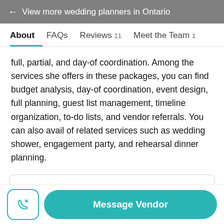← View more wedding planners in Ontario
About  FAQs  Reviews 11  Meet the Team 1
full, partial, and day-of coordination. Among the services she offers in these packages, you can find budget analysis, day-of coordination, event design, full planning, guest list management, timeline organization, to-do lists, and vendor referrals. You can also avail of related services such as wedding shower, engagement party, and rehearsal dinner planning.
HIGHLIGHTS
Wedding Planning Services